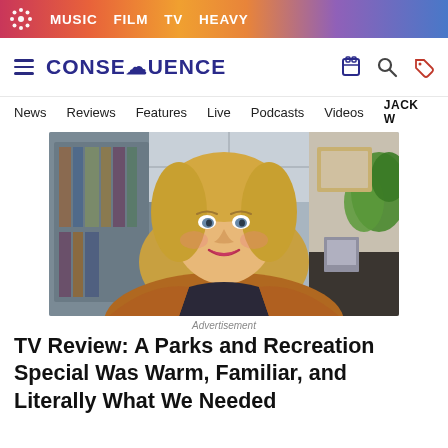MUSIC  FILM  TV  HEAVY
[Figure (logo): Consequence of Sound website logo and navigation header with hamburger menu, site name CONSEQUENCE, and icons for store, search, and tags]
News  Reviews  Features  Live  Podcasts  Videos  JACK W
[Figure (photo): A smiling blonde woman wearing a brown/rust blazer over a dark patterned top, seated in front of a bookshelf and plant, photographed from the shoulders up]
Advertisement
TV Review: A Parks and Recreation Special Was Warm, Familiar, and Literally What We Needed